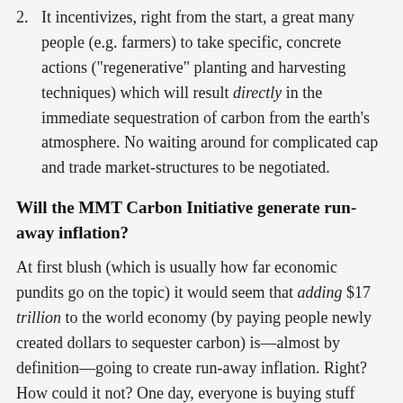2. It incentivizes, right from the start, a great many people (e.g. farmers) to take specific, concrete actions ("regenerative" planting and harvesting techniques) which will result directly in the immediate sequestration of carbon from the earth's atmosphere. No waiting around for complicated cap and trade market-structures to be negotiated.
Will the MMT Carbon Initiative generate run-away inflation?
At first blush (which is usually how far economic pundits go on the topic) it would seem that adding $17 trillion to the world economy (by paying people newly created dollars to sequester carbon) is—almost by definition—going to create run-away inflation. Right? How could it not? One day, everyone is buying stuff with X no. of